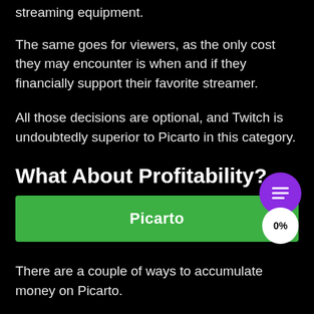streaming equipment.
The same goes for viewers, as the only cost they may encounter is when and if they financially support their favorite streamer.
All those decisions are optional, and Twitch is undoubtedly superior to Picarto in this category.
What About Profitability?
[Figure (infographic): Green bar with centered bold white text reading 'Picarto', alongside a purple circle icon and a white circle showing '0%']
There are a couple of ways to accumulate money on Picarto.